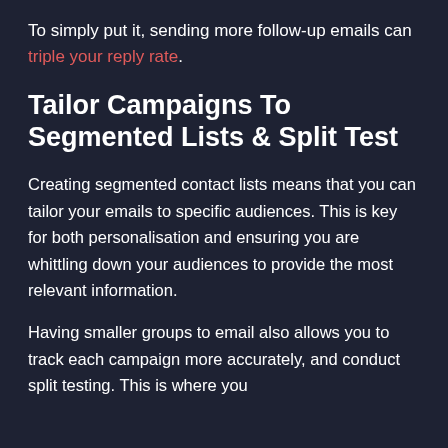To simply put it, sending more follow-up emails can triple your reply rate.
Tailor Campaigns To Segmented Lists & Split Test
Creating segmented contact lists means that you can tailor your emails to specific audiences. This is key for both personalisation and ensuring you are whittling down your audiences to provide the most relevant information.
Having smaller groups to email also allows you to track each campaign more accurately, and conduct split testing. This is where you